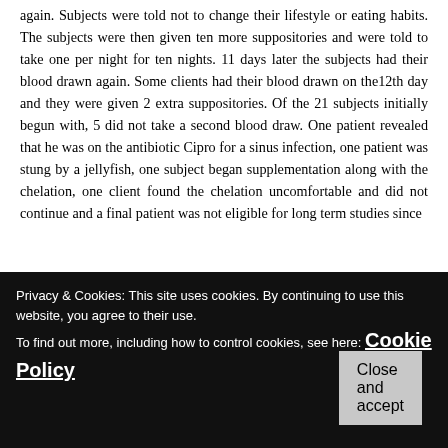again. Subjects were told not to change their lifestyle or eating habits. The subjects were then given ten more suppositories and were told to take one per night for ten nights. 11 days later the subjects had their blood drawn again. Some clients had their blood drawn on the12th day and they were given 2 extra suppositories. Of the 21 subjects initially begun with, 5 did not take a second blood draw. One patient revealed that he was on the antibiotic Cipro for a sinus infection, one patient was stung by a jellyfish, one subject began supplementation along with the chelation, one client found the chelation uncomfortable and did not continue and a final patient was not eligible for long term studies since
Privacy & Cookies: This site uses cookies. By continuing to use this website, you agree to their use. To find out more, including how to control cookies, see here: Cookie Policy
EDTA. Ten suppositories therefore have the same amount of EDTA as a 3.03 gram I.V. of Di-sodium EDTA.